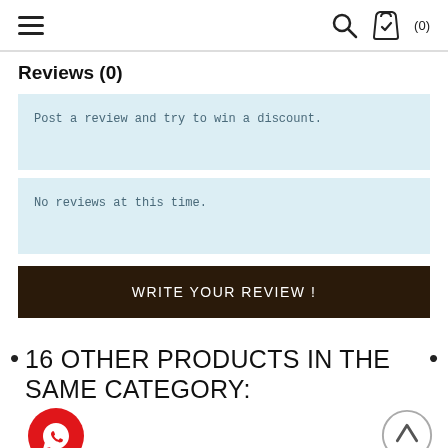Navigation header with hamburger menu, search icon, shopping bag icon (0)
Reviews (0)
Post a review and try to win a discount.
No reviews at this time.
WRITE YOUR REVIEW !
16 OTHER PRODUCTS IN THE SAME CATEGORY: